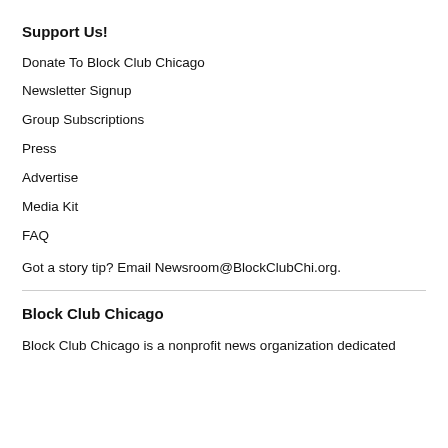Support Us!
Donate To Block Club Chicago
Newsletter Signup
Group Subscriptions
Press
Advertise
Media Kit
FAQ
Got a story tip? Email Newsroom@BlockClubChi.org.
Block Club Chicago
Block Club Chicago is a nonprofit news organization dedicated